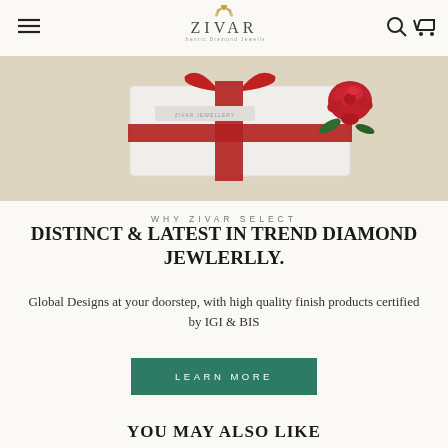[Figure (logo): Zivar Authentic Diamond Jewellery logo with decorative floral motif above the name]
[Figure (photo): Photo of a white gift box with red ribbon and a red rose beside it on a light surface]
WHY ZIVAR SELECT
DISTINCT & LATEST IN TREND DIAMOND JEWLERLLY.
Global Designs at your doorstep, with high quality finish products certified by IGI & BIS
LEARN MORE
YOU MAY ALSO LIKE